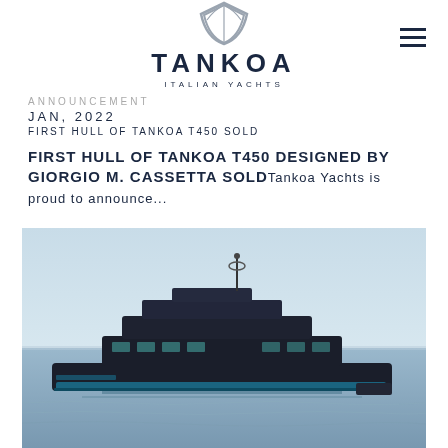[Figure (logo): Tankoa Italian Yachts logo with shield icon and wordmark]
ANNOUNCEMENT
JAN, 2022
FIRST HULL OF TANKOA T450 SOLD
FIRST HULL OF TANKOA T450 DESIGNED BY GIORGIO M. CASSETTA SOLDTankoa Yachts is proud to announce...
[Figure (photo): Photograph of a sleek dark-hulled motor yacht at sea, Tankoa T450, with calm blue water and sky in the background]